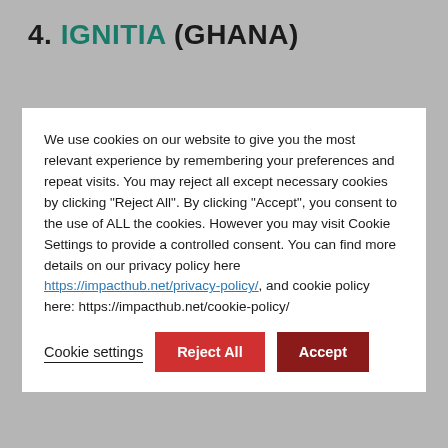4. IGNITIA (GHANA)
We use cookies on our website to give you the most relevant experience by remembering your preferences and repeat visits. You may reject all except necessary cookies by clicking "Reject All". By clicking "Accept", you consent to the use of ALL the cookies. However you may visit Cookie Settings to provide a controlled consent. You can find more details on our privacy policy here https://impacthub.net/privacy-policy/, and cookie policy here: https://impacthub.net/cookie-policy/
Cookie settings | Reject All | Accept